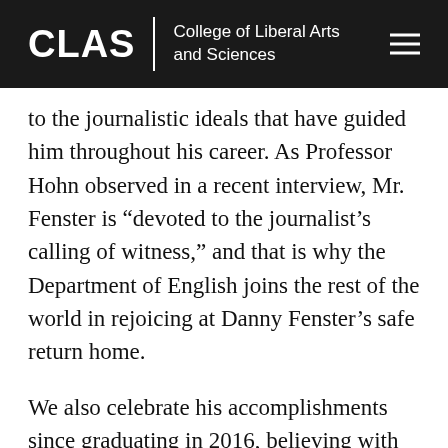CLAS | College of Liberal Arts and Sciences
to the journalistic ideals that have guided him throughout his career. As Professor Hohn observed in a recent interview, Mr. Fenster is “devoted to the journalist’s calling of witness,” and that is why the Department of English joins the rest of the world in rejoicing at Danny Fenster’s safe return home.
We also celebrate his accomplishments since graduating in 2016, believing with Dr. Trimble that “our students should know Danny’s story” because it provides a striking illustration of the ways that Wayne State alumni make a difference